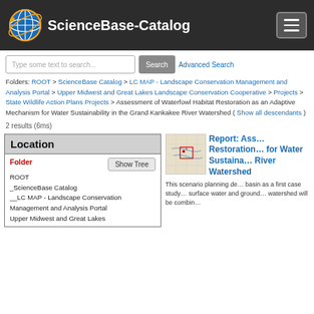ScienceBase-Catalog
Type some text to search... Search Advanced Search
Folders: ROOT > ScienceBase Catalog > LC MAP - Landscape Conservation Management and Analysis Portal > Upper Midwest and Great Lakes Landscape Conservation Cooperative > Projects > State Wildlife Action Plans Projects > Assessment of Waterfowl Habitat Restoration as an Adaptive Mechanism for Water Sustainability in the Grand Kankakee River Watershed ( Show all descendants )
2 results (6ms)
Location
Folder
ROOT
_ScienceBase Catalog
__LC MAP - Landscape Conservation Management and Analysis Portal
Upper Midwest and Great Lakes
[Figure (map): Small map thumbnail showing the Grand Kankakee River Watershed area]
Report: Assessment of Waterfowl Habitat Restoration ... for Water Sustainability ... River Watershed
This scenario planning de... basin as a first case study... surface water and ground... watershed will be combin...